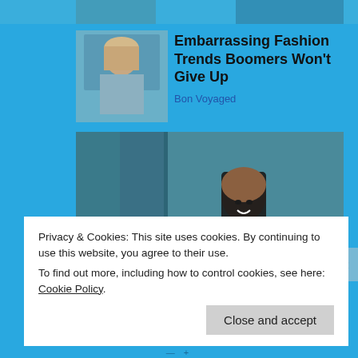[Figure (photo): Partial top strip showing cropped image at the top of the page]
[Figure (photo): Thumbnail photo of a blonde woman for article card]
Embarrassing Fashion Trends Boomers Won't Give Up
Bon Voyaged
[Figure (photo): Large main image of a woman in a sparkly off-shoulder outfit against a teal background]
Privacy & Cookies: This site uses cookies. By continuing to use this website, you agree to their use.
To find out more, including how to control cookies, see here: Cookie Policy
Close and accept